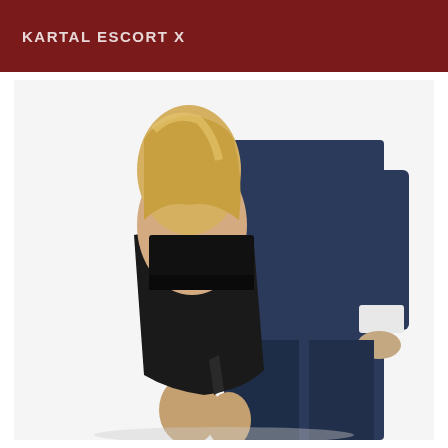KARTAL ESCORT X
[Figure (photo): A couple posing together. A blonde woman wearing a black fitted dress with a slit stands in front of a man in a navy blue suit with white shirt cuffs visible. The man has his arm around the woman's waist. The background is white.]